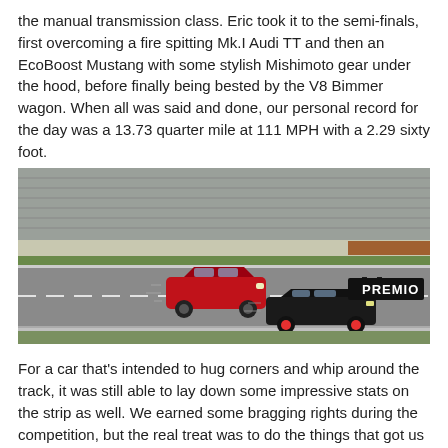the manual transmission class. Eric took it to the semi-finals, first overcoming a fire spitting Mk.I Audi TT and then an EcoBoost Mustang with some stylish Mishimoto gear under the hood, before finally being bested by the V8 Bimmer wagon. When all was said and done, our personal record for the day was a 13.73 quarter mile at 111 MPH with a 2.29 sixty foot.
[Figure (photo): Two cars racing on a drag strip. A red Ford Mustang in the left lane and a black hatchback (appears to be a Honda Civic Type R) in the right lane. Grandstand seating visible in the background. A 'PREMIO' sign visible on the right side of the track.]
For a car that's intended to hug corners and whip around the track, it was still able to lay down some impressive stats on the strip as well. We earned some bragging rights during the competition, but the real treat was to do the things that got us all in this business in the first place. Talk about, appreciate, and just drive our vehicles. The comped Chipotle was a nice perk too.